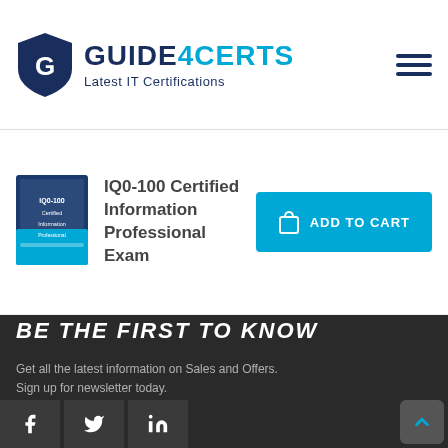[Figure (logo): Guide4Certs logo with shield icon and text 'GUIDE4CERTS - Latest IT Certifications']
IQ0-100 Certified Information Professional Exam
[Figure (illustration): Book cover for IQ0-100 Certified Information Professional Exam]
ADD TO CART
BE THE FIRST TO KNOW
Get all the latest information on Sales and Offers. Sign up for newsletter today.
Email Address
SUBSCRIBE